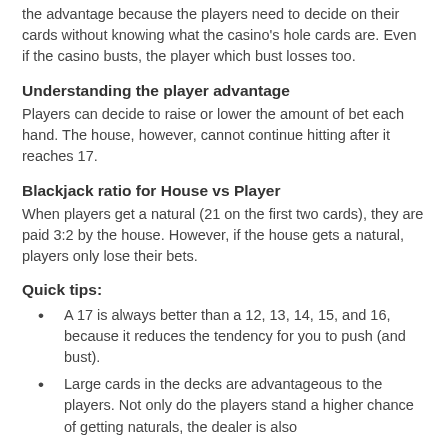the advantage because the players need to decide on their cards without knowing what the casino's hole cards are. Even if the casino busts, the player which bust losses too.
Understanding the player advantage
Players can decide to raise or lower the amount of bet each hand. The house, however, cannot continue hitting after it reaches 17.
Blackjack ratio for House vs Player
When players get a natural (21 on the first two cards), they are paid 3:2 by the house. However, if the house gets a natural, players only lose their bets.
Quick tips:
A 17 is always better than a 12, 13, 14, 15, and 16, because it reduces the tendency for you to push (and bust).
Large cards in the decks are advantageous to the players. Not only do the players stand a higher chance of getting naturals, the dealer is also